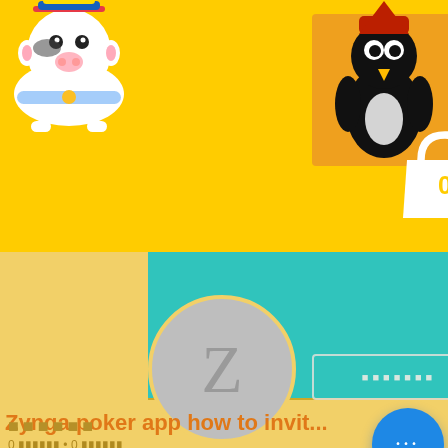[Figure (screenshot): Mobile app screenshot showing a yellow header with cartoon mascot characters (cow and playing card king), an orange shopping bag icon with '0', and an orange menu icon. Below is a teal/turquoise profile banner area with a gray circular avatar showing letter Z, a bordered button with Japanese text, and a three-dot menu. The profile area has an orange/tan background with text 'Zynga poker app how to invit...' in orange, followed by Japanese text '0 フォロワー • 0 フォロー'. Below is a section with a down chevron, and at the bottom a section with Japanese placeholder text squares and a blue circular more-options button with three dots.]